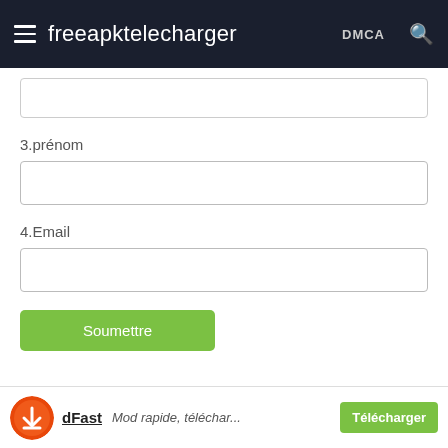freeapktelecharger  DMCA
3.prénom
4.Email
Soumettre
[Figure (logo): dFast orange circular logo with download arrow icon]
dFast
Mod rapide, téléchar...
Télécharger